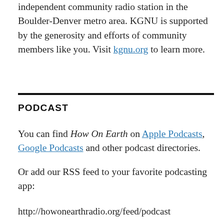independent community radio station in the Boulder-Denver metro area. KGNU is supported by the generosity and efforts of community members like you. Visit kgnu.org to learn more.
PODCAST
You can find How On Earth on Apple Podcasts, Google Podcasts and other podcast directories.
Or add our RSS feed to your favorite podcasting app:
http://howonearthradio.org/feed/podcast